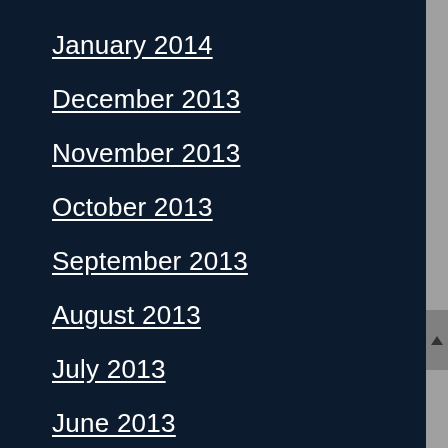January 2014
December 2013
November 2013
October 2013
September 2013
August 2013
July 2013
June 2013
May 2013
April 2013
March 2013
February 2013